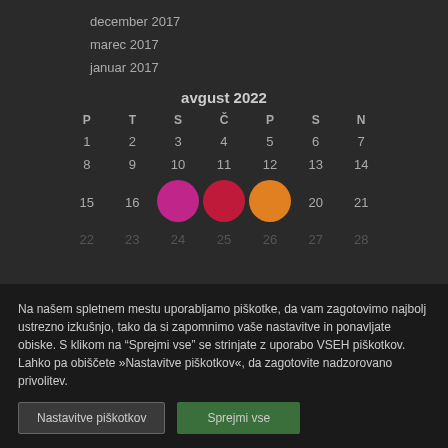december 2017
marec 2017
januar 2017
| P | T | S | Č | P | S | N |
| --- | --- | --- | --- | --- | --- | --- |
| 1 | 2 | 3 | 4 | 5 | 6 | 7 |
| 8 | 9 | 10 | 11 | 12 | 13 | 14 |
| 15 | 16 | 17 | 18 | 19 | 20 | 21 |
| 22 | 23 | 24 | 25 | 26 | 27 | 28 |
Na našem spletnem mestu uporabljamo piškotke, da vam zagotovimo najbolj ustrezno izkušnjo, tako da si zapomnimo vaše nastavitve in ponavljate obiske. S klikom na "Sprejmi vse" se strinjate z uporabo VSEH piškotkov. Lahko pa obiščete »Nastavitve piškotkov«, da zagotovite nadzorovano privolitev.
Nastavitve piškotkov | Sprejmi vse